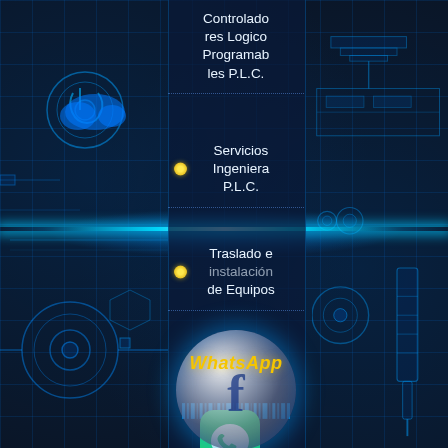[Figure (illustration): Dark blue technical/engineering blueprint background with grid lines, glowing blue horizontal light beam across the middle, blue mechanical/industrial diagrams and circuit elements on left and right sides]
Controladores Logico Programables P.L.C.
Servicios Ingeniera P.L.C.
Traslado e instalación de Equipos
[Figure (illustration): Translucent metallic sphere with Facebook 'f' logo icon inside, overlaid on center panel]
Facebook
WhatsApp
[Figure (illustration): WhatsApp green icon at bottom of center panel, partially visible]
[Figure (illustration): Barcode strip graphic near bottom center panel]